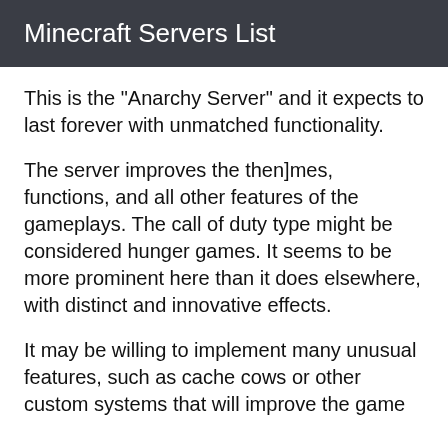Minecraft Servers List
This is the "Anarchy Server" and it expects to last forever with unmatched functionality.
The server improves the then]mes, functions, and all other features of the gameplays. The call of duty type might be considered hunger games. It seems to be more prominent here than it does elsewhere, with distinct and innovative effects.
It may be willing to implement many unusual features, such as cache cows or other custom systems that will improve the game